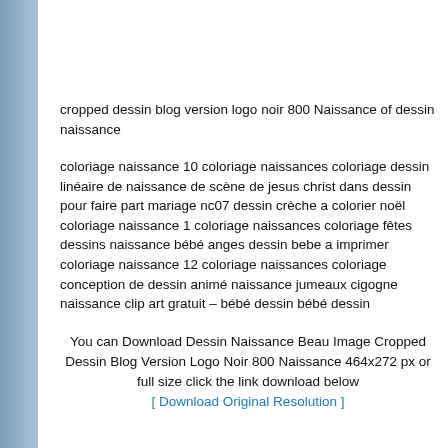cropped dessin blog version logo noir 800 Naissance of dessin naissance
coloriage naissance 10 coloriage naissances coloriage dessin linéaire de naissance de scène de jesus christ dans dessin pour faire part mariage nc07 dessin crèche a colorier noël coloriage naissance 1 coloriage naissances coloriage fêtes dessins naissance bébé anges dessin bebe a imprimer coloriage naissance 12 coloriage naissances coloriage conception de dessin animé naissance jumeaux cigogne naissance clip art gratuit – bébé dessin bébé dessin
You can Download Dessin Naissance Beau Image Cropped Dessin Blog Version Logo Noir 800 Naissance 464x272 px or full size click the link download below
[ Download Original Resolution ]